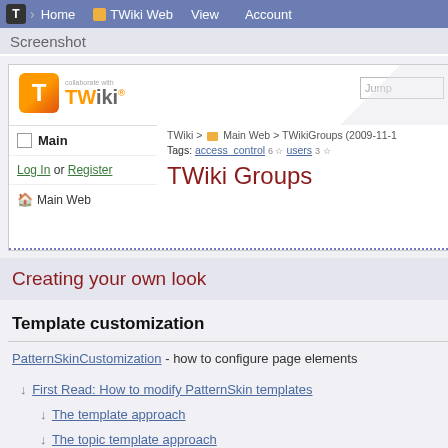Home | TWiki Web | View | Account
Screenshot
[Figure (screenshot): TWiki web application screenshot showing TWiki Groups page with logo, navigation sidebar with Main and Log In or Register links, breadcrumb showing TWiki > Main Web > TWikiGroups, tags: access_control, users, and page title TWiki Groups]
Creating your own look
Template customization
PatternSkinCustomization - how to configure page elements
First Read: How to modify PatternSkin templates
The template approach
The topic template approach (using VIEW_TEMPLATE)
Reference: pattern skin template INCLUDE tree
Read only skin mode